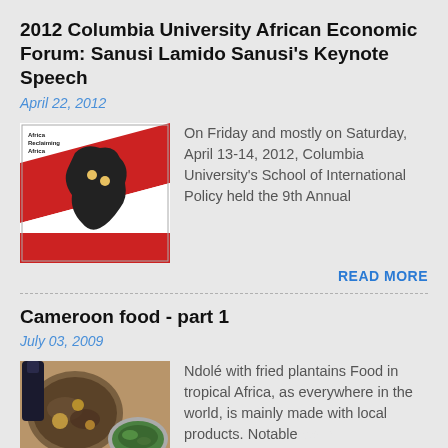2012 Columbia University African Economic Forum: Sanusi Lamido Sanusi's Keynote Speech
April 22, 2012
[Figure (photo): Cover of a book or pamphlet titled 'Africa Reclaiming Africa' with a map of Africa and red/white design elements]
On Friday and mostly on Saturday, April 13-14, 2012, Columbia University's School of International Policy held the 9th Annual
READ MORE
Cameroon food - part 1
July 03, 2009
[Figure (photo): Food photo showing Ndolé with fried plantains — a plate of cooked greens/stew and a bowl of green vegetables]
Ndolé with fried plantains Food in tropical Africa, as everywhere in the world, is mainly made with local products. Notable excepti